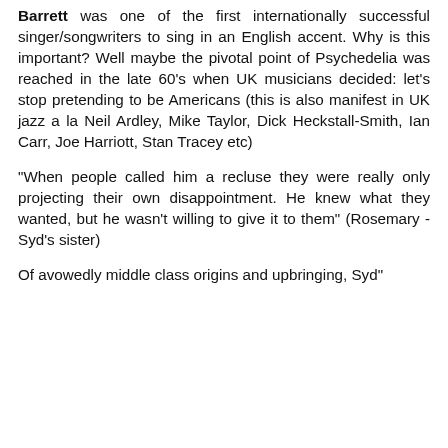Barrett was one of the first internationally successful singer/songwriters to sing in an English accent. Why is this important? Well maybe the pivotal point of Psychedelia was reached in the late 60's when UK musicians decided: let's stop pretending to be Americans (this is also manifest in UK jazz a la Neil Ardley, Mike Taylor, Dick Heckstall-Smith, Ian Carr, Joe Harriott, Stan Tracey etc)
"When people called him a recluse they were really only projecting their own disappointment. He knew what they wanted, but he wasn't willing to give it to them" (Rosemary - Syd's sister)
Of avowedly middle class origins and upbringing, Syd"